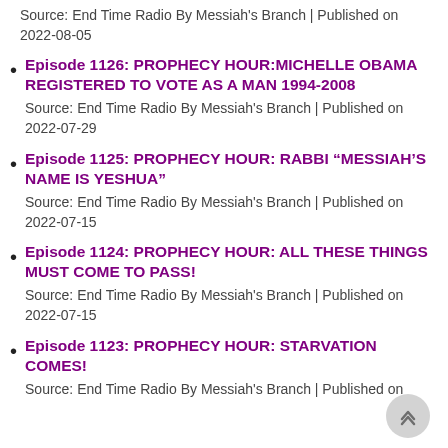Source: End Time Radio By Messiah's Branch | Published on 2022-08-05
Episode 1126: PROPHECY HOUR:MICHELLE OBAMA REGISTERED TO VOTE AS A MAN 1994-2008
Source: End Time Radio By Messiah's Branch | Published on 2022-07-29
Episode 1125: PROPHECY HOUR: RABBI “MESSIAH’S NAME IS YESHUA”
Source: End Time Radio By Messiah's Branch | Published on 2022-07-15
Episode 1124: PROPHECY HOUR: ALL THESE THINGS MUST COME TO PASS!
Source: End Time Radio By Messiah's Branch | Published on 2022-07-15
Episode 1123: PROPHECY HOUR: STARVATION COMES!
Source: End Time Radio By Messiah's Branch | Published on